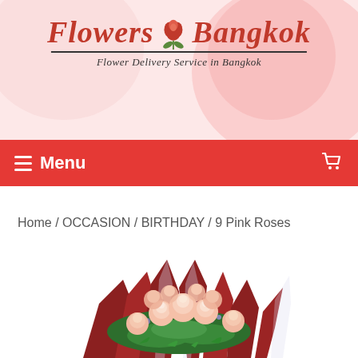[Figure (logo): Flowers Bangkok logo with red rose icon, red script text 'Flowers Bangkok', underline, and subtitle 'Flower Delivery Service in Bangkok' on a pink floral background]
≡ Menu
Home / OCCASION / BIRTHDAY / 9 Pink Roses
[Figure (photo): Bouquet of 9 pink roses wrapped in dark red and clear cellophane wrapping with green foliage and purple filler flowers, top-down view on white background]